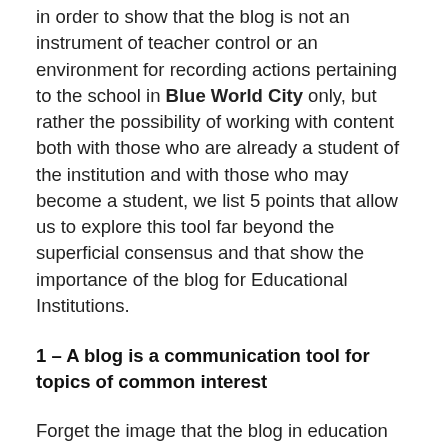in order to show that the blog is not an instrument of teacher control or an environment for recording actions pertaining to the school in Blue World City only, but rather the possibility of working with content both with those who are already a student of the institution and with those who may become a student, we list 5 points that allow us to explore this tool far beyond the superficial consensus and that show the importance of the blog for Educational Institutions.
1 – A blog is a communication tool for topics of common interest
Forget the image that the blog in education can only be used to discuss the topic of a subject or pass messages from the institution or teacher. It can even be used for that, but that kind of use is a waste.